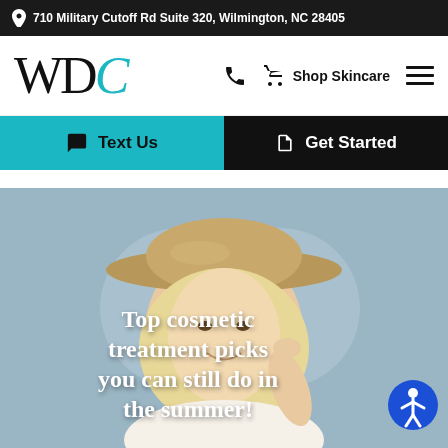710 Military Cutoff Rd Suite 320, Wilmington, NC 28405
[Figure (logo): WDC logo with teal accent on the C letter]
Shop Skincare
Text Us
Get Started
[Figure (photo): Smiling blonde woman wearing a tan wide-brim hat against a light blue sky background]
Top cosmetic treatment picks you can still do in the summer!